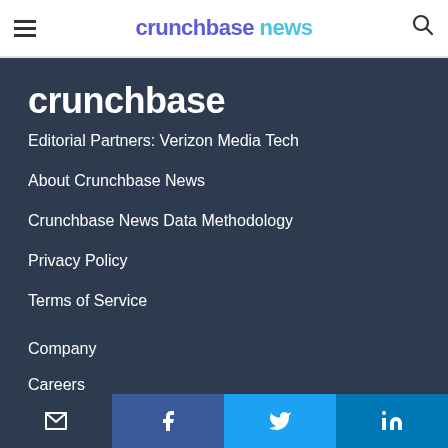crunchbase news
[Figure (logo): Crunchbase logo in white text on dark background]
Editorial Partners: Verizon Media Tech
About Crunchbase News
Crunchbase News Data Methodology
Privacy Policy
Terms of Service
Company
Careers
Email | Facebook | Twitter | LinkedIn